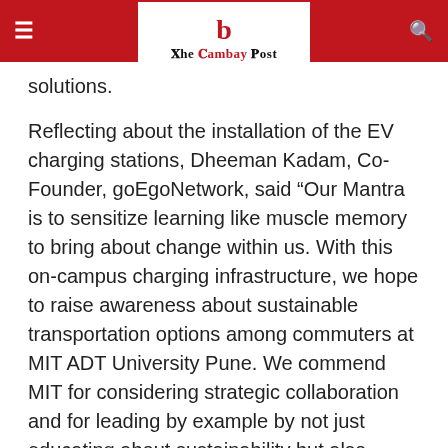The Cambay Post
solutions.
Reflecting about the installation of the EV charging stations, Dheeman Kadam, Co-Founder, goEgoNetwork, said “Our Mantra is to sensitize learning like muscle memory to bring about change within us. With this on-campus charging infrastructure, we hope to raise awareness about sustainable transportation options among commuters at MIT ADT University Pune. We commend MIT for considering strategic collaboration and for leading by example by not just educating about sustainability but also putting it into practice in real-time”.